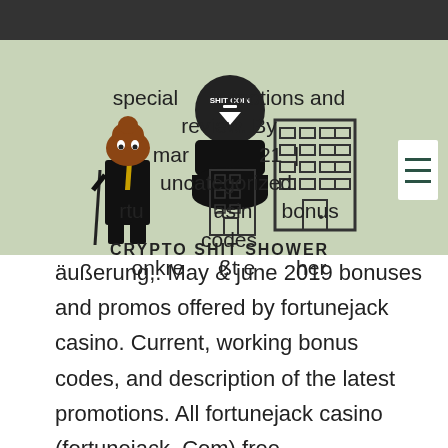[Figure (logo): Crypto Shit Shower logo featuring a cartoon poop character in a suit, a toilet with 'SHIT COIN' coin, and a building graphic. Text overlay reads: special promotions and review. By mar...21 | uncategorized. rtu...asin...bonus codes onkre...ßt e...her]
äußerung,. May & june 2019 bonuses and promos offered by fortunejack casino. Current, working bonus codes, and description of the latest promotions. All fortunejack casino (fortunejack. Com) free